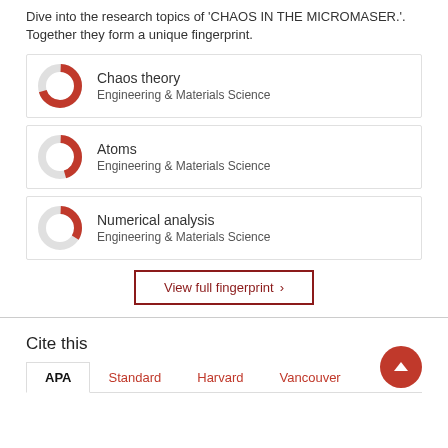Dive into the research topics of 'CHAOS IN THE MICROMASER.'. Together they form a unique fingerprint.
Chaos theory
Engineering & Materials Science
Atoms
Engineering & Materials Science
Numerical analysis
Engineering & Materials Science
View full fingerprint >
Cite this
APA | Standard | Harvard | Vancouver